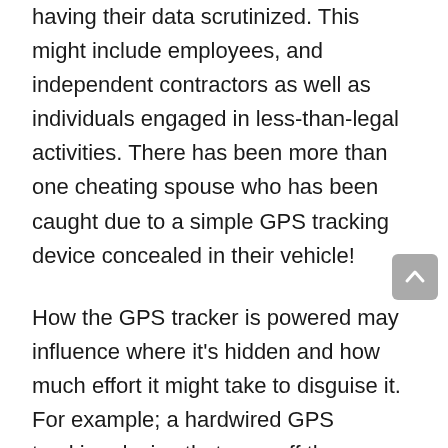having their data scrutinized. This might include employees, and independent contractors as well as individuals engaged in less-than-legal activities. There has been more than one cheating spouse who has been caught due to a simple GPS tracking device concealed in their vehicle!
How the GPS tracker is powered may influence where it's hidden and how much effort it might take to disguise it. For example; a hardwired GPS tracking device that runs off the vehicle's own electrical system can be disguised in many different ways within the interior of the vehicle. However, it takes time to install such a system. On the other end of the spectrum a battery-powered GPS device with a simple magnet attached to the back can be put inside a wheel well or under a